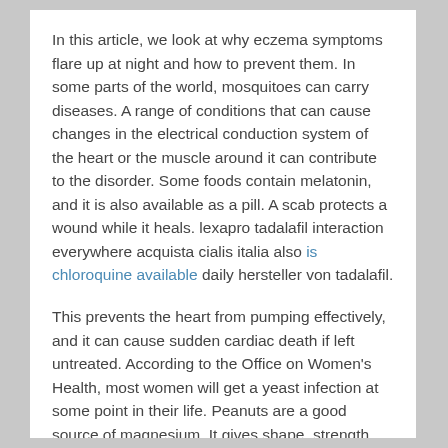In this article, we look at why eczema symptoms flare up at night and how to prevent them. In some parts of the world, mosquitoes can carry diseases. A range of conditions that can cause changes in the electrical conduction system of the heart or the muscle around it can contribute to the disorder. Some foods contain melatonin, and it is also available as a pill. A scab protects a wound while it heals. lexapro tadalafil interaction everywhere acquista cialis italia also is chloroquine available daily hersteller von tadalafil.
This prevents the heart from pumping effectively, and it can cause sudden cardiac death if left untreated. According to the Office on Women's Health, most women will get a yeast infection at some point in their life. Peanuts are a good source of magnesium. It gives shape, strength, and texture to bread and other grain products. They also commonly attach in areas where clothing is tight. There are many possible reasons why a person may feel out of breath after eating, and the treatments differ depending on the cause. Rapid evaluation and treatment of an alcohol overdose can minimize the risk...